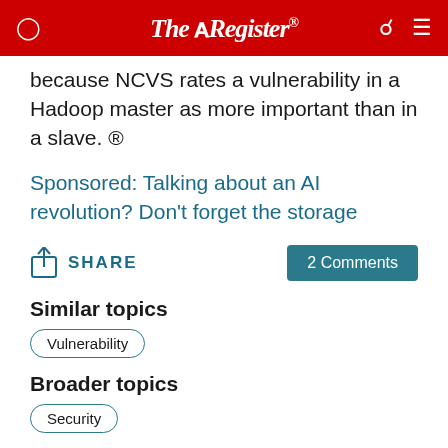The Register
because NCVS rates a vulnerability in a Hadoop master as more important than in a slave. ®
Sponsored: Talking about an AI revolution? Don't forget the storage
SHARE   2 Comments
Similar topics
Vulnerability
Broader topics
Security
Narrower topics
Y2K   Zero Day Initiative